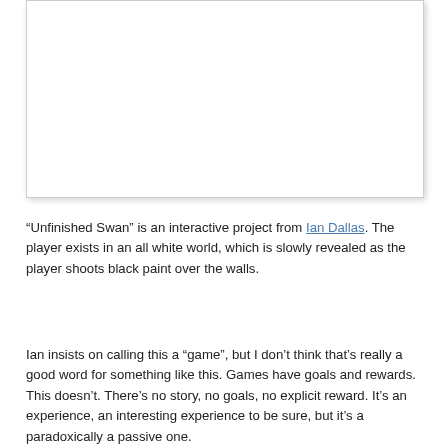[Figure (photo): A mostly white/blank image placeholder with a light border and shadow.]
“Unfinished Swan” is an interactive project from Ian Dallas. The player exists in an all white world, which is slowly revealed as the player shoots black paint over the walls.
Ian insists on calling this a “game”, but I don’t think that’s really a good word for something like this. Games have goals and rewards. This doesn’t. There’s no story, no goals, no explicit reward. It’s an experience, an interesting experience to be sure, but it’s a paradoxically a passive one.